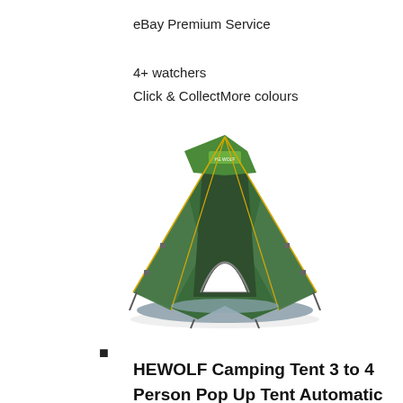eBay Premium Service
4+ watchers
Click & CollectMore colours
[Figure (photo): A green HEWOLF pop-up camping tent with hexagonal dome shape, open door flaps showing the interior, with yellow accent poles, gray groundsheet, on white background.]
HEWOLF Camping Tent 3 to 4
Person Pop Up Tent Automatic